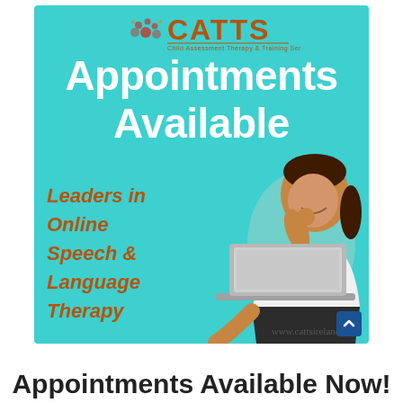[Figure (infographic): CATTS (Child Assessment Therapy & Training Services) advertisement on teal/turquoise background. Shows logo at top, large white text 'Appointments Available', orange-brown italic text 'Leaders in Online Speech & Language Therapy' on left side, photo of smiling young girl with laptop on right side, website URL www.cattsireland.com at bottom right.]
Appointments Available Now!